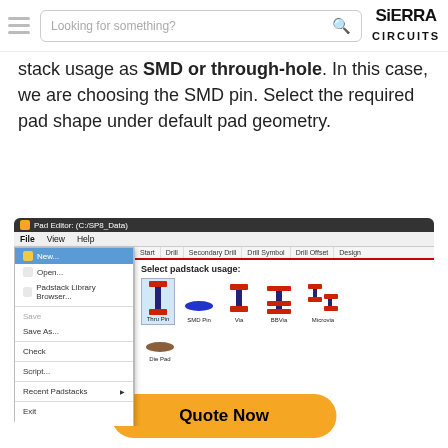Sierra Circuits — Navigation header with search bar and logo
stack usage as SMD or through-hole. In this case, we are choosing the SMD pin. Select the required pad shape under default pad geometry.
[Figure (screenshot): Screenshot of Pad Editor software showing File menu open with options: New..., Open..., Padstack Library Browser..., Save (grayed), Save As..., Check, Script..., Recent Padstacks, Exit. The right panel shows 'Select padstack usage:' with icons for Thru Pin, SMD Pin, Via, BBVia, Microvia, and Die Pad.]
Quote Now